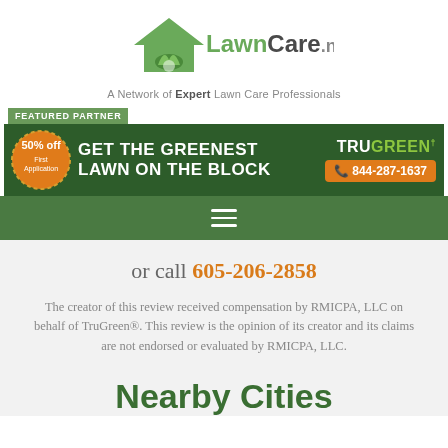[Figure (logo): LawnCare.net logo with house and grass icon, green color scheme]
A Network of Expert Lawn Care Professionals
[Figure (infographic): TruGreen featured partner advertisement banner: GET THE GREENEST LAWN ON THE BLOCK, 50% off First Application badge, phone number 844-287-1637]
or call 605-206-2858
The creator of this review received compensation by RMICPA, LLC on behalf of TruGreen®. This review is the opinion of its creator and its claims are not endorsed or evaluated by RMICPA, LLC.
Nearby Cities